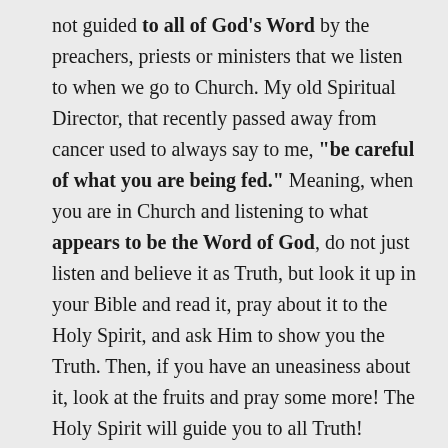not guided to all of God's Word by the preachers, priests or ministers that we listen to when we go to Church. My old Spiritual Director, that recently passed away from cancer used to always say to me, "be careful of what you are being fed." Meaning, when you are in Church and listening to what appears to be the Word of God, do not just listen and believe it as Truth, but look it up in your Bible and read it, pray about it to the Holy Spirit, and ask Him to show you the Truth. Then, if you have an uneasiness about it, look at the fruits and pray some more! The Holy Spirit will guide you to all Truth!